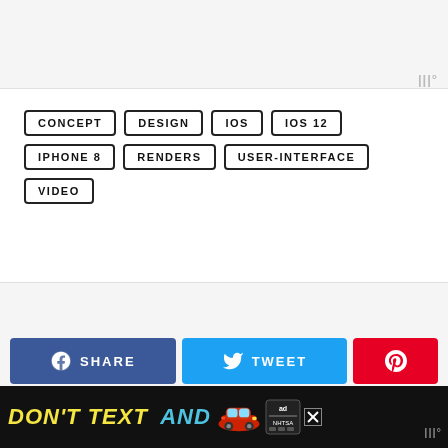[Figure (screenshot): Top image/video area with light gray background and logo watermark]
CONCEPT
DESIGN
IOS
IOS 12
IPHONE 8
RENDERS
USER-INTERFACE
VIDEO
[Figure (infographic): Social share buttons: Facebook SHARE (blue), Twitter TWEET (cyan), Pinterest (red with Pinterest logo)]
[Figure (infographic): Ad banner: DON'T TEXT AND [car emoji] ad with NHTSA badge and close button, logo watermark on right]